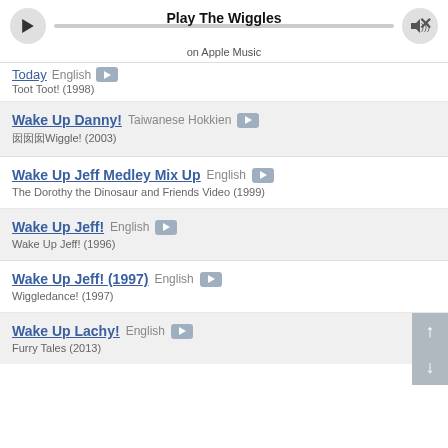Play The Wiggles on Apple Music
Today  English  —  Toot Toot! (1998)
Wake Up Danny!  Taiwanese Hokkien  —  囡囡Wiggle! (2003)
Wake Up Jeff Medley Mix Up  English  —  The Dorothy the Dinosaur and Friends Video (1999)
Wake Up Jeff!  English  —  Wake Up Jeff! (1996)
Wake Up Jeff! (1997)  English  —  Wiggledance! (1997)
Wake Up Lachy!  English  —  Furry Tales (2013)